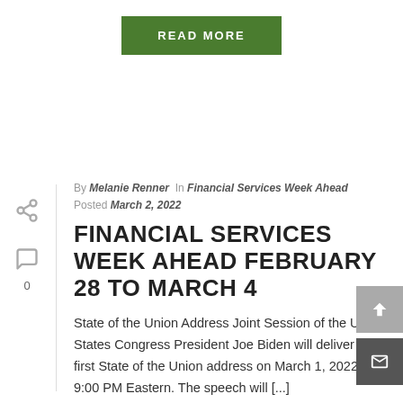[Figure (other): Green READ MORE button at top center]
By Melanie Renner In Financial Services Week Ahead Posted March 2, 2022
FINANCIAL SERVICES WEEK AHEAD FEBRUARY 28 TO MARCH 4
State of the Union Address Joint Session of the United States Congress President Joe Biden will deliver his first State of the Union address on March 1, 2022, at 9:00 PM Eastern. The speech will [...]